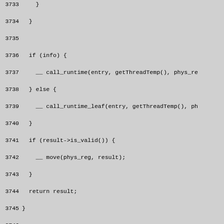Source code listing lines 3733-3762, C++ code for LIRGenerator class methods including call_runtime, do_MemBar with switch statement for memory barrier types.